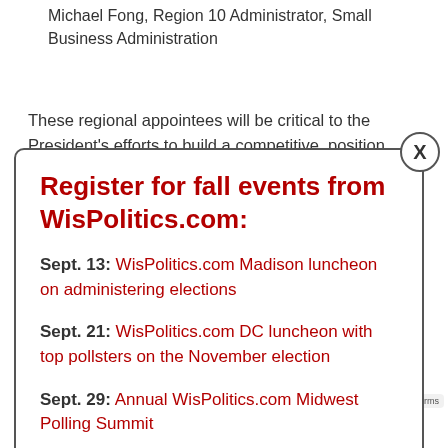Michael Fong, Region 10 Administrator, Small Business Administration
These regional appointees will be critical to the President's efforts to build a competitive, position stated by the...
Register for fall events from WisPolitics.com:
Sept. 13: WisPolitics.com Madison luncheon on administering elections
Sept. 21: WisPolitics.com DC luncheon with top pollsters on the November election
Sept. 29: Annual WisPolitics.com Midwest Polling Summit
Oct. 18: WisPolitics.com Madison luncheon on top legislative races
policy, administers credit and loan programs, and manages conservation, commodity, disaster, and farm marketing